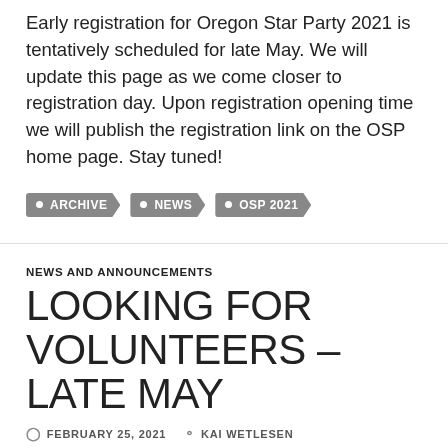Early registration for Oregon Star Party 2021 is tentatively scheduled for late May. We will update this page as we come closer to registration day. Upon registration opening time we will publish the registration link on the OSP home page. Stay tuned!
ARCHIVE
NEWS
OSP 2021
NEWS AND ANNOUNCEMENTS
LOOKING FOR VOLUNTEERS – LATE MAY
FEBRUARY 25, 2021   KAI WETLESEN
It may not be surprising, but the Oregon Star Party would not